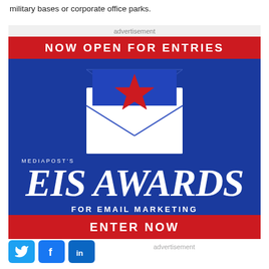military bases or corporate office parks.
advertisement
[Figure (illustration): EIS Awards advertisement banner. Red top bar with 'NOW OPEN FOR ENTRIES' in white. Blue background with envelope illustration containing a red star, MEDIAPOST'S EIS AWARDS FOR EMAIL MARKETING EXCELLENCE text in white. Red bottom bar with 'ENTER NOW' in white.]
advertisement
[Figure (illustration): Social media sharing buttons: Twitter (blue bird icon), Facebook (white f on blue), LinkedIn (white 'in' on blue)]